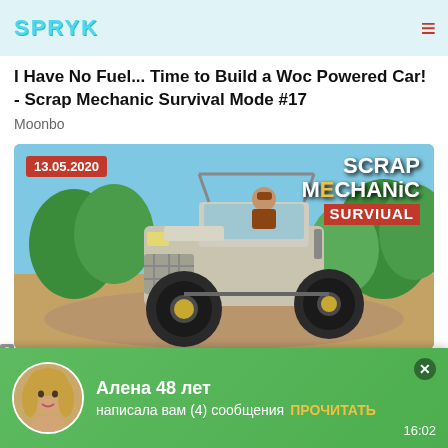SPRYK
I Have No Fuel... Time to Build a Woc Powered Car! - Scrap Mechanic Survival Mode #17
Moonbo
[Figure (screenshot): Game thumbnail for Scrap Mechanic Survival showing a blocky off-road vehicle on a dirt path with trees in background. Date badge shows 13.05.2020. Scrap Mechanic Survival logo in top right.]
[Figure (infographic): Green notification popup at bottom of screen showing a woman's avatar photo, text 'Алена 48 лет написала вам (4) сообщения' with 'ПРОЧИТАТЬ' action button, time 16:02, and close X button.]